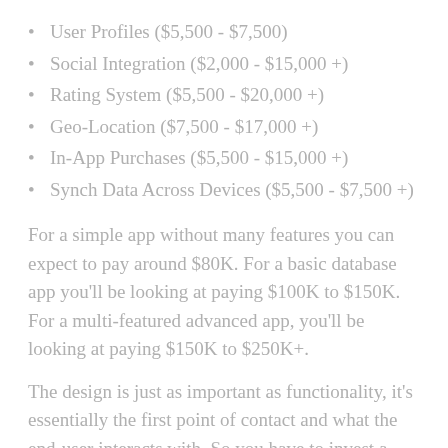User Profiles ($5,500 - $7,500)
Social Integration ($2,000 - $15,000 +)
Rating System ($5,500 - $20,000 +)
Geo-Location ($7,500 - $17,000 +)
In-App Purchases ($5,500 - $15,000 +)
Synch Data Across Devices ($5,500 - $7,500 +)
For a simple app without many features you can expect to pay around $80K. For a basic database app you’ll be looking at paying $100K to $150K. For a multi-featured advanced app, you’ll be looking at paying $150K to $250K+.
The design is just as important as functionality, it’s essentially the first point of contact and what the end-user interacts with. So you have to invest a considerable amount of money to get this sort of